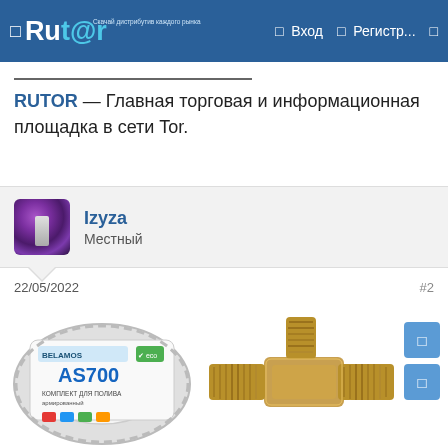□  Rutor  □ Вход  □ Регистр...  □
RUTOR — Главная торговая и информационная площадка в сети Tor.
Izyza
Местный
22/05/2022    #2
[Figure (photo): Product image of AS700 hose kit (Belamos brand) and a brass plumbing fitting (tee connector)]